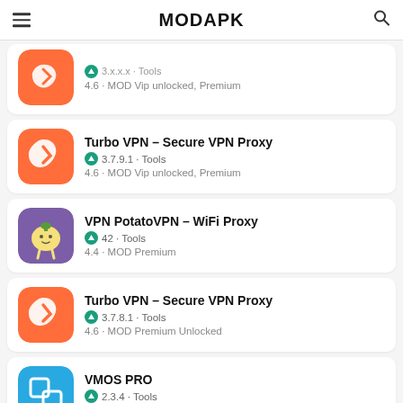MODAPK
4.6 · MOD Vip unlocked, Premium
Turbo VPN – Secure VPN Proxy
3.7.9.1 · Tools
4.6 · MOD Vip unlocked, Premium
VPN PotatoVPN – WiFi Proxy
42 · Tools
4.4 · MOD Premium
Turbo VPN – Secure VPN Proxy
3.7.8.1 · Tools
4.6 · MOD Premium Unlocked
VMOS PRO
2.3.4 · Tools
2.7 · MOD Unlocked